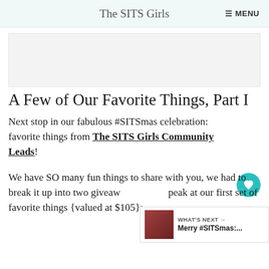The SITS Girls  ≡ MENU
[Figure (photo): Hero image placeholder, light gray background]
A Few of Our Favorite Things, Part I
Next stop in our fabulous #SITSmas celebration: favorite things from The SITS Girls Community Leads!
We have SO many fun things to share with you, we had to break it up into two giveaways. Take a peak at our first set of favorite things {valued at $105}: